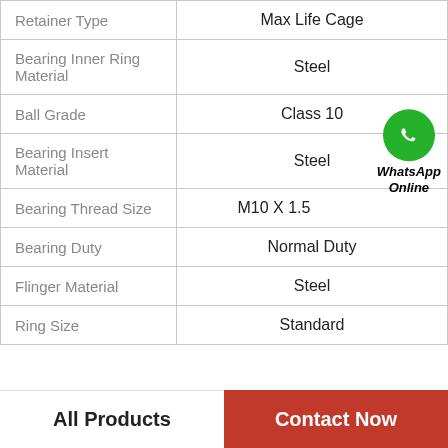| Property | Value |
| --- | --- |
| Retainer Type | Max Life Cage |
| Bearing Inner Ring Material | Steel |
| Ball Grade | Class 10 |
| Bearing Insert Material | Steel |
| Bearing Thread Size | M10 X 1.5 |
| Bearing Duty | Normal Duty |
| Flinger Material | Steel |
| Ring Size | Standard |
All Products
Contact Now